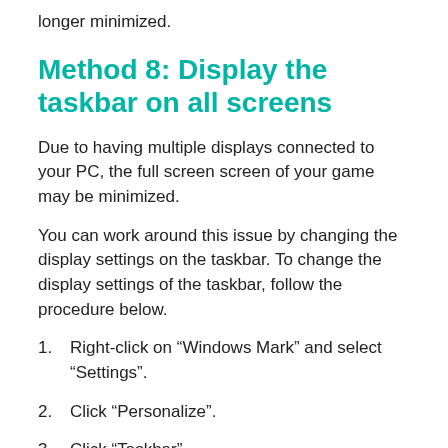longer minimized.
Method 8: Display the taskbar on all screens
Due to having multiple displays connected to your PC, the full screen screen of your game may be minimized.
You can work around this issue by changing the display settings on the taskbar. To change the display settings of the taskbar, follow the procedure below.
Right-click on “Windows Mark” and select “Settings”.
Click “Personalize”.
Click “Taskbar”.